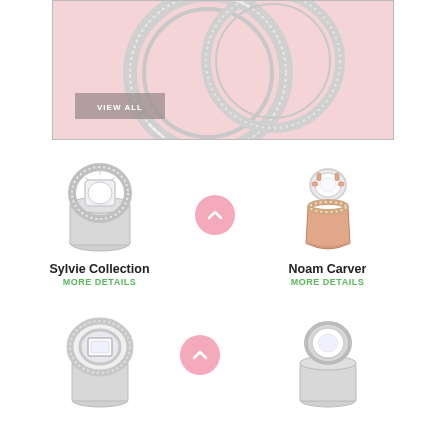[Figure (photo): Two interlocked silver diamond-studded wedding bands on a pink background with a 'VIEW ALL' button overlay]
[Figure (photo): Sylvie Collection engagement ring - white gold halo ring with cushion center stone]
Sylvie Collection
MORE DETAILS
[Figure (photo): Noam Carver engagement ring - rose gold solitaire with round diamond and pave band]
Noam Carver
MORE DETAILS
[Figure (photo): Diamond halo engagement ring with emerald-cut center stone, white gold]
[Figure (photo): White gold solitaire engagement ring with round bezel-set diamond]